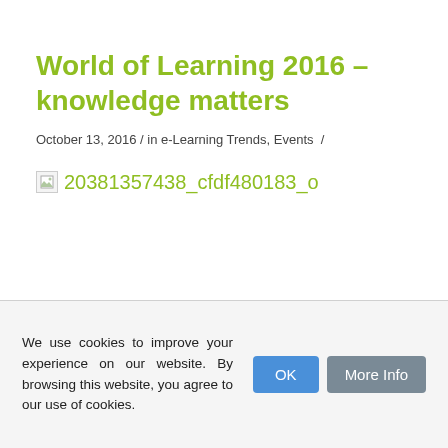World of Learning 2016 – knowledge matters
October 13, 2016 / in e-Learning Trends, Events /
[Figure (photo): Broken image placeholder with alt text: 20381357438_cfdf480183_o]
We use cookies to improve your experience on our website. By browsing this website, you agree to our use of cookies.